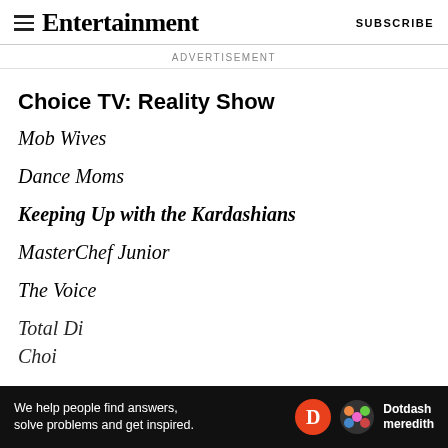Entertainment Weekly — SUBSCRIBE
ADVERTISEMENT
Choice TV: Reality Show
Mob Wives
Dance Moms
Keeping Up with the Kardashians
MasterChef Junior
The Voice
Total Di...
Choi...
[Figure (infographic): Dotdash Meredith advertisement banner: 'We help people find answers, solve problems and get inspired.' with D logo and Dotdash meredith name]